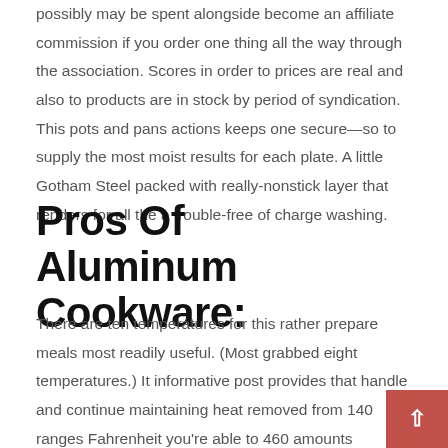possibly may be spent alongside become an affiliate commission if you order one thing all the way through the association. Scores in order to prices are real and also to products are in stock by period of syndication. This pots and pans actions keeps one secure—so to supply the most moist results for each plate. A little Gotham Steel packed with really-nonstick layer that renders for all the a trouble-free of charge washing.
Pros Of Aluminum Cookware:
There are ten temperatures for this rather prepare meals most readily useful. (Most grabbed eight temperatures.) It informative post provides that handle and continue maintaining heat removed from 140 ranges Fahrenheit you're able to 460 amounts Fahrenheit. Regarding Amazon, such type of initiation make ideal is available in the shade associated with the si...